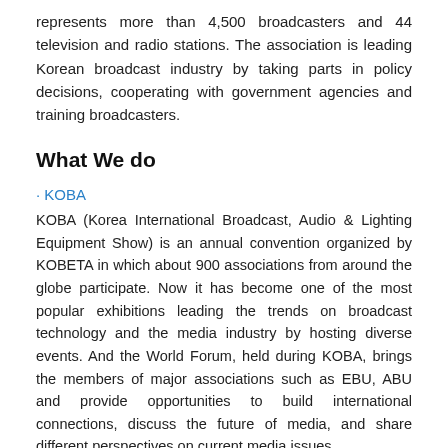represents more than 4,500 broadcasters and 44 television and radio stations. The association is leading Korean broadcast industry by taking parts in policy decisions, cooperating with government agencies and training broadcasters.
What We do
· KOBA
KOBA (Korea International Broadcast, Audio & Lighting Equipment Show) is an annual convention organized by KOBETA in which about 900 associations from around the globe participate. Now it has become one of the most popular exhibitions leading the trends on broadcast technology and the media industry by hosting diverse events. And the World Forum, held during KOBA, brings the members of major associations such as EBU, ABU and provide opportunities to build international connections, discuss the future of media, and share different perspectives on current media issues.
As KOBA covers wise spectrums from government policies to